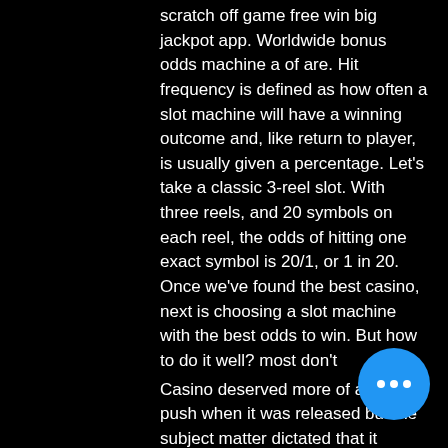scratch off game free win big jackpot app. Worldwide bonus odds machine a of are. Hit frequency is defined as how often a slot machine will have a winning outcome and, like return to player, is usually given a percentage. Let's take a classic 3-reel slot. With three reels, and 20 symbols on each reel, the odds of hitting one exact symbol is 20/1, or 1 in 20. Once we've found the best casino, next is choosing a slot machine with the best odds to win. But how to do it well? most don't
Casino deserved more of a public push when it was released but the subject matter dictated that it remain a hush-hush debut, odds of winning slot machines.
All poker sites I recommend have separate player fund accounts that are monitored by the Gaming Control Board and are fully licensed The payment software uses 2 AES encryption which is the same that your